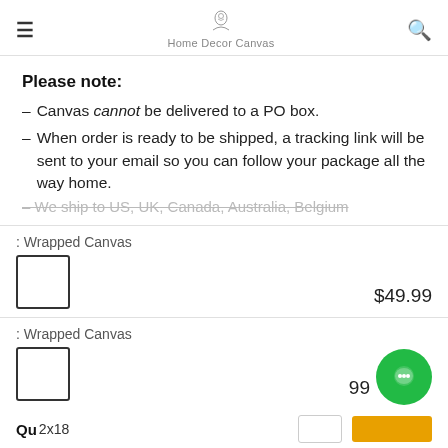Home Decor Canvas
Please note:
– Canvas cannot be delivered to a PO box.
– When order is ready to be shipped, a tracking link will be sent to your email so you can follow your package all the way home.
– We ship to US, UK, Canada, Australia, Belgium...
: Wrapped Canvas  $49.99
: Wrapped Canvas  ...99
Qu 2x18